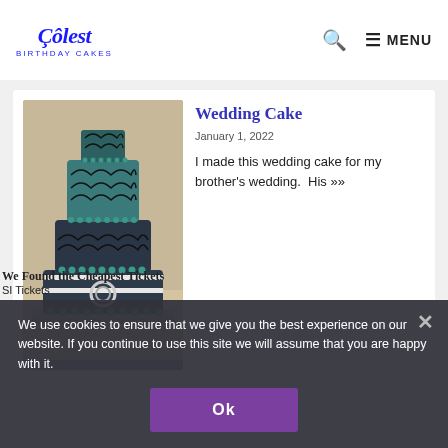Coolest Birthday Cakes | MENU
Wedding Cake
January 1, 2022
I made this wedding cake for my brother's wedding.  His »»
[Figure (photo): A multi-tiered wedding cake decorated with teal/blue beads, black lace patterns, and a circular jeweled buckle accent, displayed on a silver tray]
We use cookies to ensure that we give you the best experience on our website. If you continue to use this site we will assume that you are happy with it.
Ok